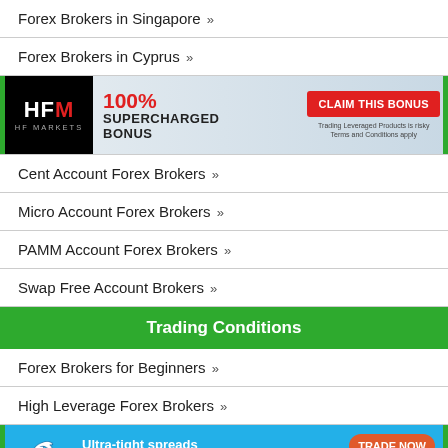Forex Brokers in Singapore »
[Figure (infographic): HFM (HF Markets) advertisement banner: 100% Supercharged Bonus, Claim This Bonus button]
Forex Brokers in Cyprus »
Cent Account Forex Brokers »
Micro Account Forex Brokers »
PAMM Account Forex Brokers »
Swap Free Account Brokers »
Trading Conditions
Forex Brokers for Beginners »
High Leverage Forex Brokers »
[Figure (infographic): FP Markets advertisement banner: Ultra-tight spreads from 0.0 pips on MT4, No commissions - No requotes, Trade Now button]